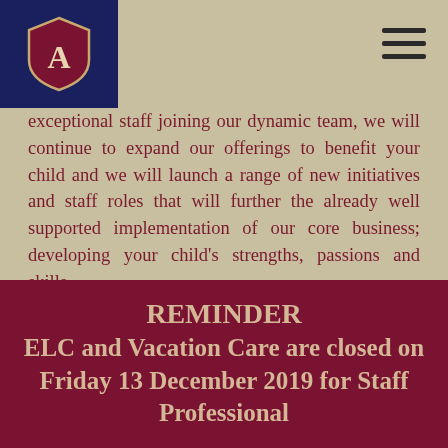[School logo and navigation menu]
exceptional staff joining our dynamic team, we will continue to expand our offerings to benefit your child and we will launch a range of new initiatives and staff roles that will further the already well supported implementation of our core business; developing your child’s strengths, passions and skills.
REMINDER ELC and Vacation Care are closed on Friday 13 December 2019 for Staff Professional